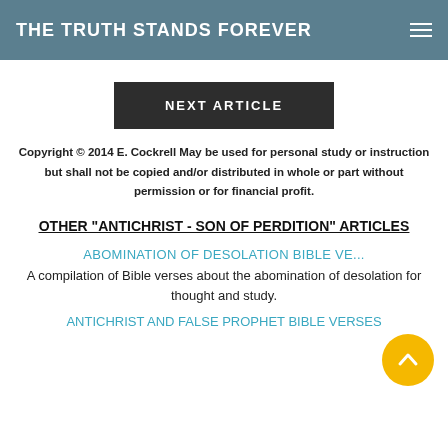THE TRUTH STANDS FOREVER
NEXT ARTICLE
Copyright © 2014 E. Cockrell May be used for personal study or instruction but shall not be copied and/or distributed in whole or part without permission or for financial profit.
OTHER "ANTICHRIST - SON OF PERDITION" ARTICLES
ABOMINATION OF DESOLATION BIBLE VERSES
A compilation of Bible verses about the abomination of desolation for thought and study.
ANTICHRIST AND FALSE PROPHET BIBLE VERSES